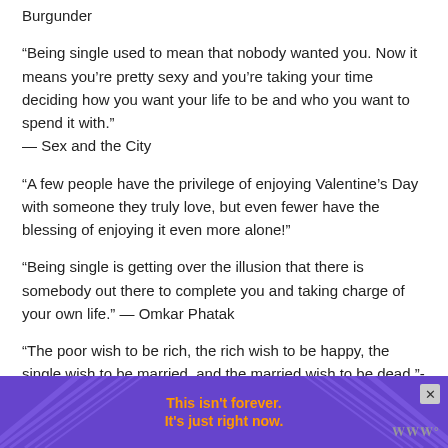Burgunder
“Being single used to mean that nobody wanted you. Now it means you’re pretty sexy and you’re taking your time deciding how you want your life to be and who you want to spend it with.” — Sex and the City
“A few people have the privilege of enjoying Valentine’s Day with someone they truly love, but even fewer have the blessing of enjoying it even more alone!”
“Being single is getting over the illusion that there is somebody out there to complete you and taking charge of your own life.” — Omkar Phatak
“The poor wish to be rich, the rich wish to be happy, the single wish to be married, and the married wish to be dead.”- Ann La…
[Figure (other): Advertisement banner with purple background, diagonal lines pattern, orange bold text reading 'This isn't forever. It's just right now.' and a close button.]